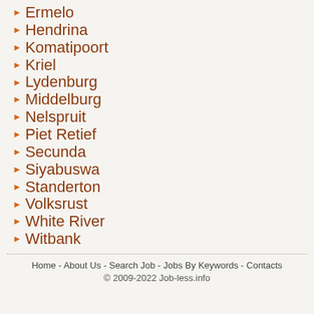Ermelo
Hendrina
Komatipoort
Kriel
Lydenburg
Middelburg
Nelspruit
Piet Retief
Secunda
Siyabuswa
Standerton
Volksrust
White River
Witbank
Home - About Us - Search Job - Jobs By Keywords - Contacts
© 2009-2022 Job-less.info